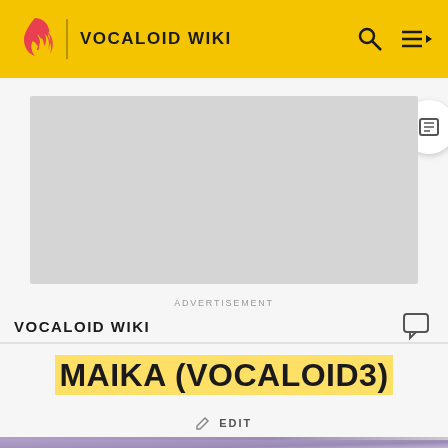VOCALOID WIKI
[Figure (screenshot): Advertisement placeholder box (grey rectangle)]
ADVERTISEMENT
VOCALOID WIKI
MAIKA (VOCALOID3)
EDIT
[Figure (photo): Partial view of MAIKA Vocaloid3 product box by Voctro Labs showing purple packaging with VOCALOID logo text]